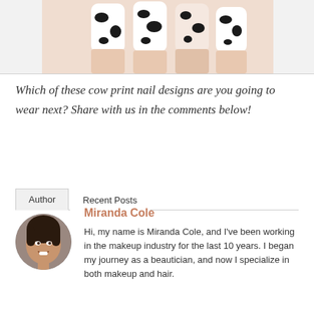[Figure (photo): Close-up photo of hands with cow print nail designs — black spots on white nails]
Which of these cow print nail designs are you going to wear next? Share with us in the comments below!
Author | Recent Posts
[Figure (photo): Circular profile photo of Miranda Cole, a woman with dark hair, smiling]
Miranda Cole
Hi, my name is Miranda Cole, and I've been working in the makeup industry for the last 10 years. I began my journey as a beautician, and now I specialize in both makeup and hair.